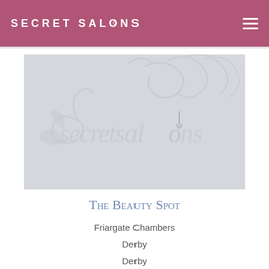SECRET SALONS
[Figure (logo): Secret Salons placeholder image with 'secretsalons' watermark text and decorative swirl on light grey background]
The Beauty Spot
Friargate Chambers
Derby
Derby
DE1 1BU